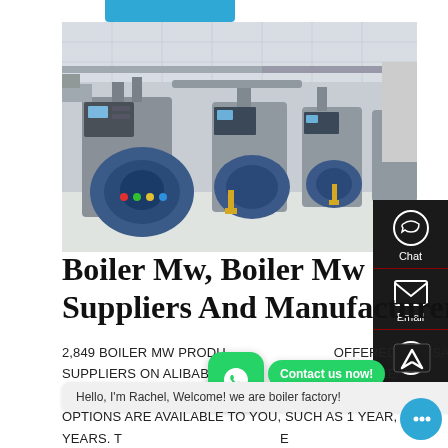[Figure (photo): Industrial boiler room with multiple large gray cylindrical steam boilers equipped with blue burners, piping, and control panels in a white-walled facility]
Boiler Mw, Boiler Mw Suppliers And Manufacturers
2,849 BOILER MW PRODUCTS ARE OFFERED FOR SALE BY SUPPLIERS ON ALIBABA.COM, OF WHICH BOILER ACCOUNTS FOR 39%. A WIDE VARIETY OF BOILER MW OPTIONS ARE AVAILABLE TO YOU, SUCH AS 1 YEAR, 2 YEARS. THE TOP SUPPLYING COUNTRIES OR REGIONS BOILER MW ON ALIBABA.COM, MAINLY LOCATED IN ASIA.